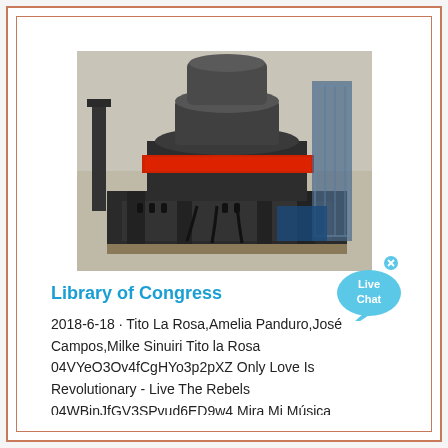[Figure (photo): Industrial heavy machine (cone crusher or sand making machine) in dark grey color with red ring accent, photographed in a factory/warehouse setting.]
Library of Congress
2018-6-18 · Tito La Rosa,Amelia Panduro,José Campos,Milke Sinuiri Tito la Rosa 04VYeO3Ov4fCgHYo3p2pXZ Only Love Is Revolutionary - Live The Rebels 04WBinJfGV3SPvud6ED9w4 Mira Mi Música
[Figure (illustration): Live Chat bubble icon in cyan/light blue with white text 'Live Chat' and a small x close button.]